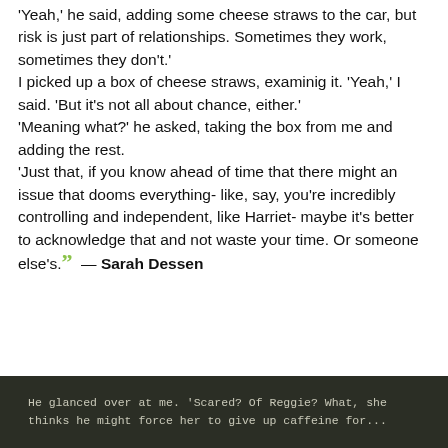'Yeah,' he said, adding some cheese straws to the car, but risk is just part of relationships. Sometimes they work, sometimes they don't.' I picked up a box of cheese straws, examinig it. 'Yeah,' I said. 'But it's not all about chance, either.' 'Meaning what?' he asked, taking the box from me and adding the rest. 'Just that, if you know ahead of time that there might an issue that dooms everything- like, say, you're incredibly controlling and independent, like Harriet- maybe it's better to acknowledge that and not waste your time. Or someone else's. ” — Sarah Dessen
[Figure (photo): Dark background image with text: 'He glanced over at me. 'Scared? Of Reggie? What, she thinks he might force her to give up caffeine for...']